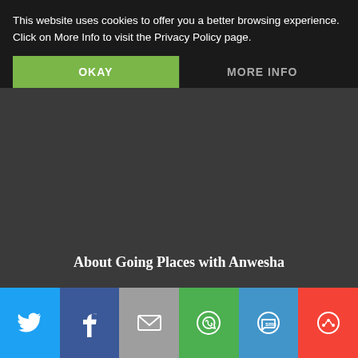This website uses cookies to offer you a better browsing experience. Click on More Info to visit the Privacy Policy page.
OKAY
MORE INFO
About Going Places with Anwesha
Welcome to Going Places with Anwesha. Driven by curiosity, travel is my passion, exploring one city at a time adding the whole World to my bucket list. Learning about various cultures,
[Figure (infographic): Social sharing bar with icons for Twitter, Facebook, Email, WhatsApp, SMS, and More options]